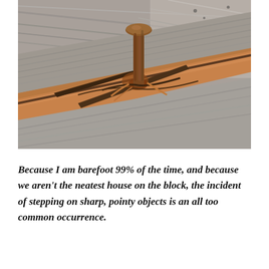[Figure (photo): Close-up photograph of a rusty nail protruding from a weathered, cracked wooden plank. The wood is grey and aged with orange rust stains around the nail.]
Because I am barefoot 99% of the time, and because we aren't the neatest house on the block, the incident of stepping on sharp, pointy objects is an all too common occurrence.